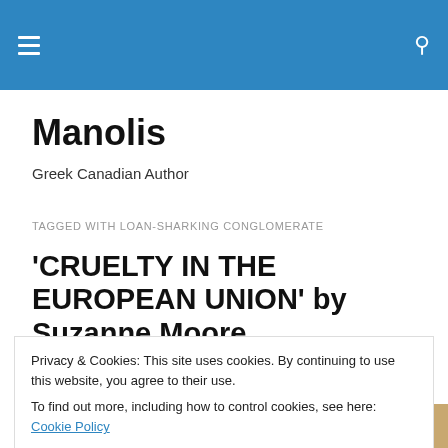Manolis — site header bar with hamburger menu and search icon
Manolis
Greek Canadian Author
TAGGED WITH LOAN-SHARKING CONGLOMERATE
'CRUELTY IN THE EUROPEAN UNION' by Suzanne Moore
Privacy & Cookies: This site uses cookies. By continuing to use this website, you agree to their use.
To find out more, including how to control cookies, see here: Cookie Policy
Close and accept
[Figure (photo): Book cover or book image strip at bottom of page with text in Greek]